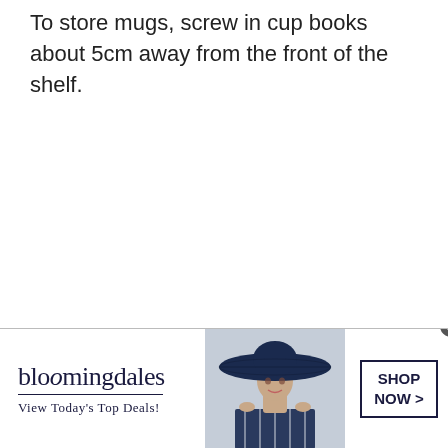To store mugs, screw in cup books about 5cm away from the front of the shelf.
[Figure (photo): Bloomingdale's advertisement banner featuring the Bloomingdale's logo, tagline 'View Today's Top Deals!', a photo of a woman in a large navy hat, and a 'SHOP NOW >' call-to-action button.]